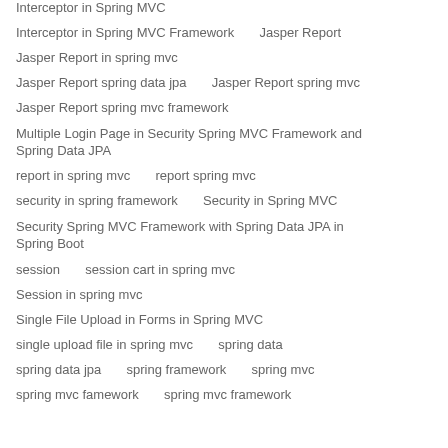Interceptor in Spring MVC
Interceptor in Spring MVC Framework      Jasper Report
Jasper Report in spring mvc
Jasper Report spring data jpa      Jasper Report spring mvc
Jasper Report spring mvc framework
Multiple Login Page in Security Spring MVC Framework and Spring Data JPA
report in spring mvc      report spring mvc
security in spring framework      Security in Spring MVC
Security Spring MVC Framework with Spring Data JPA in Spring Boot
session      session cart in spring mvc
Session in spring mvc
Single File Upload in Forms in Spring MVC
single upload file in spring mvc      spring data
spring data jpa      spring framework      spring mvc
spring mvc famework      spring mvc framework